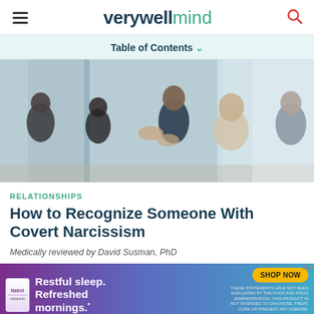verywell mind
Table of Contents
[Figure (photo): Office meeting scene with several people sitting around a table; a man in a suit gestures expressively while others listen.]
RELATIONSHIPS
How to Recognize Someone With Covert Narcissism
Medically reviewed by David Susman, PhD
[Figure (infographic): Advertisement banner: 'Restful sleep. Refreshed mornings.' with a SHOP NOW button and available at Target. Natrol brand sleeping pills shown.]